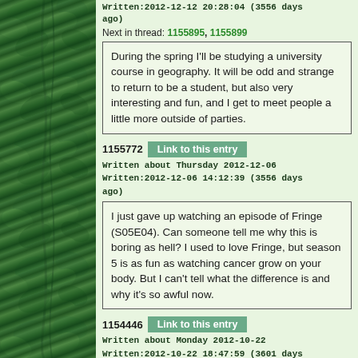Written:2012-12-12 20:28:04 (3556 days ago)
Next in thread: 1155895, 1155899
During the spring I'll be studying a university course in geography. It will be odd and strange to return to be a student, but also very interesting and fun, and I get to meet people a little more outside of parties.
1155772 Link to this entry
Written about Thursday 2012-12-06
Written:2012-12-06 14:12:39 (3556 days ago)
I just gave up watching an episode of Fringe (S05E04). Can someone tell me why this is boring as hell? I used to love Fringe, but season 5 is as fun as watching cancer grow on your body. But I can't tell what the difference is and why it's so awful now.
1154446 Link to this entry
Written about Monday 2012-10-22
Written:2012-10-22 18:47:59 (3601 days ago)
Next in thread: 1154492
Yea, all my experience from Elftown and Elfpack tells me exactly this:

http://xkcd.com/1124/